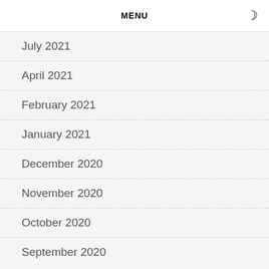MENU
July 2021
April 2021
February 2021
January 2021
December 2020
November 2020
October 2020
September 2020